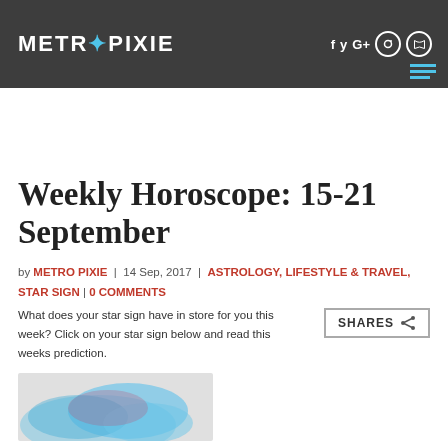METROPIXIE
Weekly Horoscope: 15-21 September
by METRO PIXIE  |  14 Sep, 2017  |  ASTROLOGY, LIFESTYLE & TRAVEL, STAR SIGN  |  0 COMMENTS
What does your star sign have in store for you this week? Click on your star sign below and read this weeks prediction.
[Figure (illustration): Partial view of a blue watercolor splash illustration at the bottom of the page]